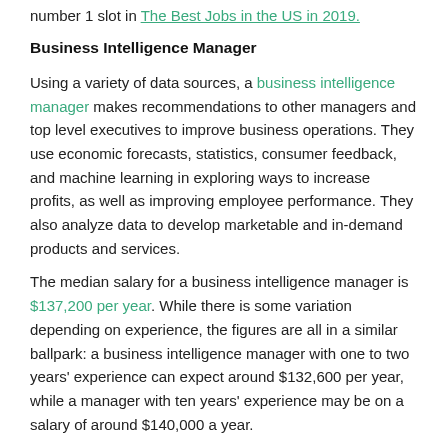number 1 slot in The Best Jobs in the US in 2019.
Business Intelligence Manager
Using a variety of data sources, a business intelligence manager makes recommendations to other managers and top level executives to improve business operations. They use economic forecasts, statistics, consumer feedback, and machine learning in exploring ways to increase profits, as well as improving employee performance. They also analyze data to develop marketable and in-demand products and services.
The median salary for a business intelligence manager is $137,200 per year. While there is some variation depending on experience, the figures are all in a similar ballpark: a business intelligence manager with one to two years’ experience can expect around $132,600 per year, while a manager with ten years’ experience may be on a salary of around $140,000 a year.
Experts anticipate that the demand for business intelligence managers in the job market will grow by 11% between 2018 and 2028. It is also expected that business intelligence managers who have broader skills that include data mining and data